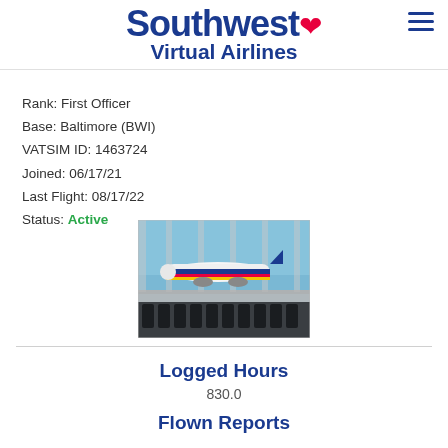Southwest Virtual Airlines
Rank: First Officer
Base: Baltimore (BWI)
VATSIM ID: 1463724
Joined: 06/17/21
Last Flight: 08/17/22
Status: Active
[Figure (photo): Airport terminal waiting area with rows of black seats facing large windows, Southwest Airlines plane visible on the tarmac outside]
Logged Hours
830.0
Flown Reports